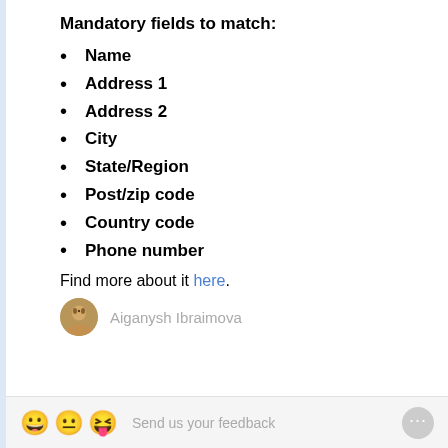Mandatory fields to match:
Name
Address 1
Address 2
City
State/Region
Post/zip code
Country code
Phone number
Find more about it here.
Aiganysh Ibraimova
Send us your feedback